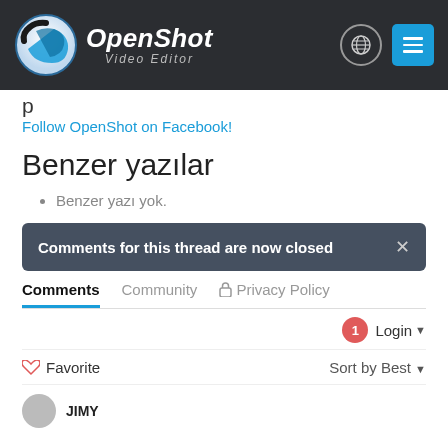OpenShot Video Editor
Follow OpenShot on Facebook!
Benzer yazılar
Benzer yazı yok.
Comments for this thread are now closed
Comments  Community  Privacy Policy
1  Login
Favorite  Sort by Best
JIMY